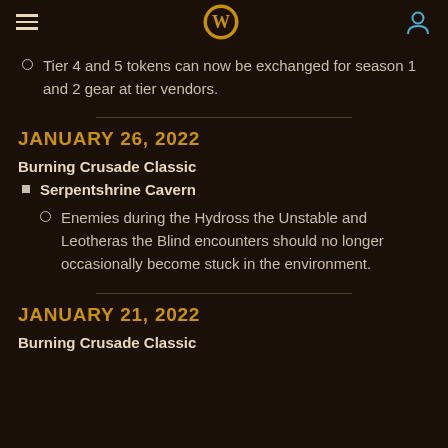World of Warcraft navigation header
Tier 4 and 5 tokens can now be exchanged for season 1 and 2 gear at tier vendors.
JANUARY 26, 2022
Burning Crusade Classic
Serpentshrine Cavern
Enemies during the Hydross the Unstable and Leotheras the Blind encounters should no longer occasionally become stuck in the environment.
JANUARY 21, 2022
Burning Crusade Classic